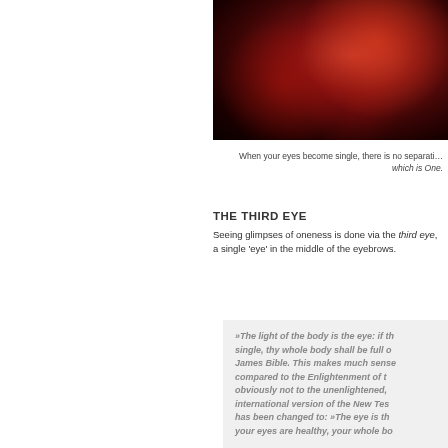[Figure (photo): Dark red and black cosmic or abstract image, showing deep red glowing nebula-like forms against a very dark background]
When your eyes become single, there is no separati... which is One.
THE THIRD EYE
Seeing glimpses of oneness is done via the third eye, a single 'eye' in the middle of the eyebrows.
»The light of the body is the eye: if th... single, thy whole body shall be full o... James Bible. This makes much sense... compared to the Enlightenment of t... obviously not to the unenlightened,... international version of the New Tes... has been changed to: »The eye is th... your eyes are healthy, your whole bo...
How this is meaningful to the unenl... not know. But he knows it makes n...